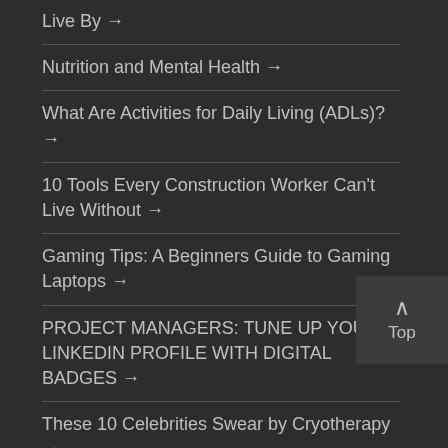Live By →
Nutrition and Mental Health →
What Are Activities for Daily Living (ADLs)? →
10 Tools Every Construction Worker Can't Live Without →
Gaming Tips: A Beginners Guide to Gaming Laptops →
PROJECT MANAGERS: TUNE UP YOUR LINKEDIN PROFILE WITH DIGITAL BADGES →
These 10 Celebrities Swear by Cryotherapy →